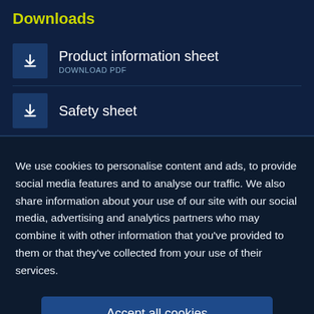Downloads
Product information sheet
DOWNLOAD PDF
Safety sheet
We use cookies to personalise content and ads, to provide social media features and to analyse our traffic. We also share information about your use of our site with our social media, advertising and analytics partners who may combine it with other information that you've provided to them or that they've collected from your use of their services.
Accept all cookies
Settings